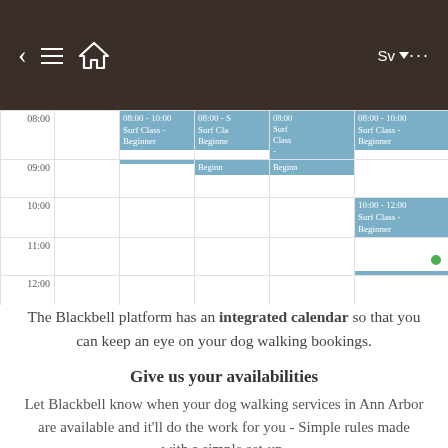[Figure (screenshot): Mobile app navigation bar with back arrow, hamburger menu, home icon on the left, and 'Sv' dropdown with ellipsis menu on the right, dark brown background]
[Figure (screenshot): Calendar/schedule view showing time slots from 08:00 to 12:00 with blue 'Surf Class - Beginner' event blocks in multiple day columns, and a green dot indicator on one block]
The Blackbell platform has an integrated calendar so that you can keep an eye on your dog walking bookings.
Give us your availabilities
Let Blackbell know when your dog walking services in Ann Arbor are available and it'll do the work for you - Simple rules made with a simple set-up.
Display real-time availabilities